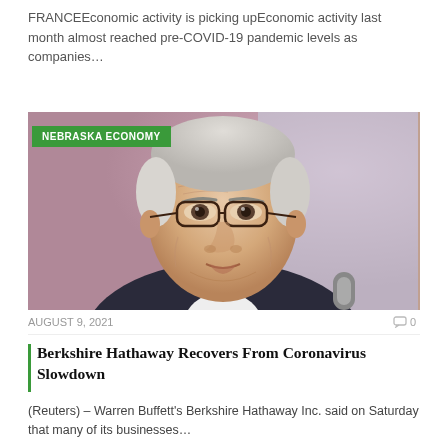FRANCEEconomic activity is picking upEconomic activity last month almost reached pre-COVID-19 pandemic levels as companies…
[Figure (photo): Close-up portrait of an elderly man wearing glasses, with white/grey hair, wearing a dark suit — resembling a prominent business figure. Green 'NEBRASKA ECONOMY' badge overlay in top-left corner.]
AUGUST 9, 2021
0
Berkshire Hathaway Recovers From Coronavirus Slowdown
(Reuters) – Warren Buffett's Berkshire Hathaway Inc. said on Saturday that many of its businesses…